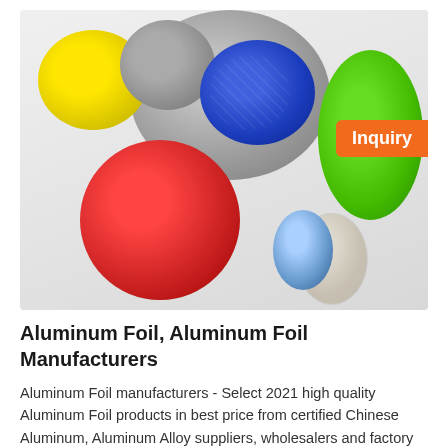[Figure (photo): Photo of several rolls of colored aluminum foil in yellow, gray, blue, green, red, and small transparent/blue rolls arranged on a white surface. An orange 'Inquiry' badge appears in the top-right corner of the image.]
Aluminum Foil, Aluminum Foil Manufacturers
Aluminum Foil manufacturers - Select 2021 high quality Aluminum Foil products in best price from certified Chinese Aluminum, Aluminum Alloy suppliers, wholesalers and factory on